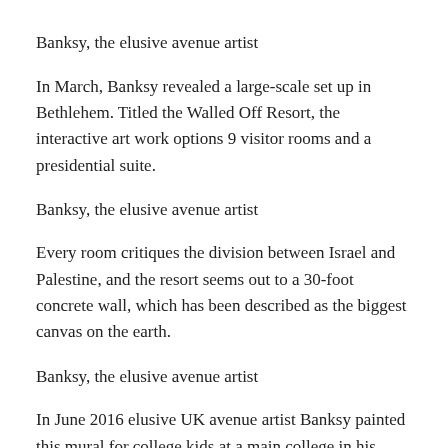Banksy, the elusive avenue artist
In March, Banksy revealed a large-scale set up in Bethlehem. Titled the Walled Off Resort, the interactive art work options 9 visitor rooms and a presidential suite.
Banksy, the elusive avenue artist
Every room critiques the division between Israel and Palestine, and the resort seems out to a 30-foot concrete wall, which has been described as the biggest canvas on the earth.
Banksy, the elusive avenue artist
In June 2016 elusive UK avenue artist Banksy painted this mural for college kids at a main college in his hometown of Bristol, England.